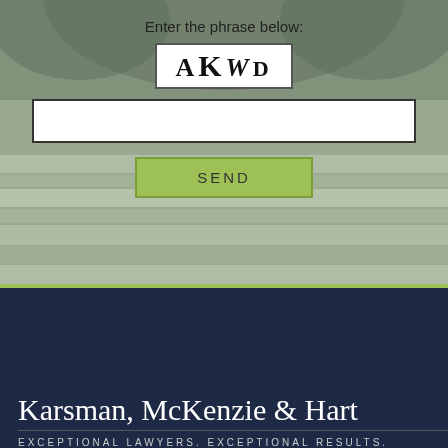Enter the phrase below:
[Figure (other): CAPTCHA image displaying the code: AKWD in stylized mixed fonts]
[Figure (other): Empty text input field for CAPTCHA entry]
SEND
[Figure (photo): Background photo of stone steps or stacked stone, muted grey-green tones]
Karsman, McKenzie & Hart
EXCEPTIONAL LAWYERS. EXCEPTIONAL RESULTS.